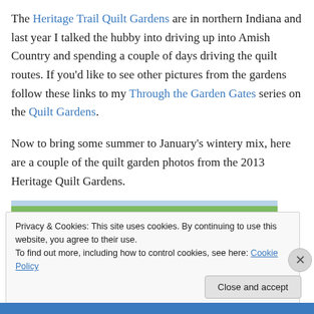The Heritage Trail Quilt Gardens are in northern Indiana and last year I talked the hubby into driving up into Amish Country and spending a couple of days driving the quilt routes. If you'd like to see other pictures from the gardens follow these links to my Through the Garden Gates series on the Quilt Gardens.
Now to bring some summer to January's wintery mix, here are a couple of the quilt garden photos from the 2013 Heritage Quilt Gardens.
[Figure (photo): Partial view of a quilt garden outdoor scene with green grass, blue sky, and a red truck visible. Bottom portion shows a blue strip.]
Privacy & Cookies: This site uses cookies. By continuing to use this website, you agree to their use. To find out more, including how to control cookies, see here: Cookie Policy